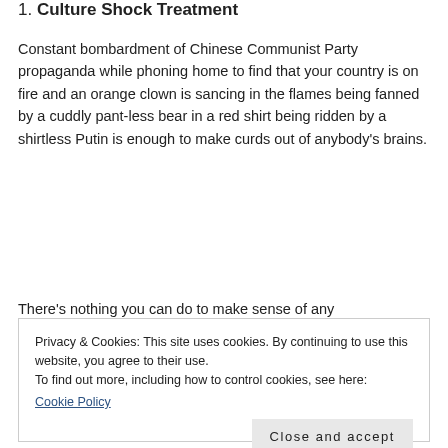1. Culture Shock Treatment
Constant bombardment of Chinese Communist Party propaganda while phoning home to find that your country is on fire and an orange clown is sancing in the flames being fanned by a cuddly pant-less bear in a red shirt being ridden by a shirtless Putin is enough to make curds out of anybody's brains.
There's nothing you can do to make sense of any
Privacy & Cookies: This site uses cookies. By continuing to use this website, you agree to their use.
To find out more, including how to control cookies, see here:
Cookie Policy
Close and accept